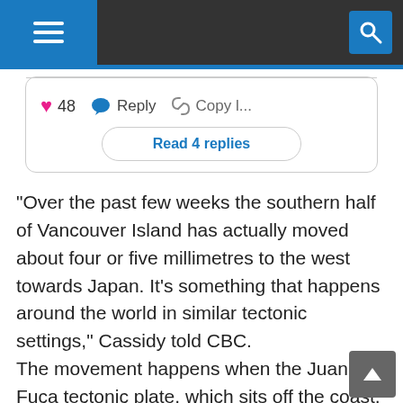[Figure (screenshot): Mobile app navigation bar with hamburger menu icon on dark grey background and blue search icon on the right]
[Figure (screenshot): Comment card with heart (48 likes), Reply, Copy link actions and 'Read 4 replies' button]
"Over the past few weeks the southern half of Vancouver Island has actually moved about four or five millimetres to the west towards Japan. It's something that happens around the world in similar tectonic settings," Cassidy told CBC.
The movement happens when the Juan de Fuca tectonic plate, which sits off the coast, sinks beneath the